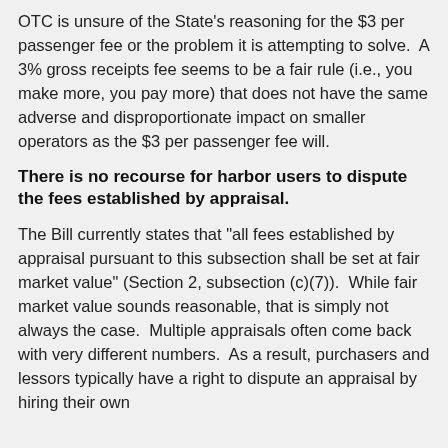OTC is unsure of the State's reasoning for the $3 per passenger fee or the problem it is attempting to solve.  A 3% gross receipts fee seems to be a fair rule (i.e., you make more, you pay more) that does not have the same adverse and disproportionate impact on smaller operators as the $3 per passenger fee will.
There is no recourse for harbor users to dispute the fees established by appraisal.
The Bill currently states that "all fees established by appraisal pursuant to this subsection shall be set at fair market value" (Section 2, subsection (c)(7)).  While fair market value sounds reasonable, that is simply not always the case.  Multiple appraisals often come back with very different numbers.  As a result, purchasers and lessors typically have a right to dispute an appraisal by hiring their own